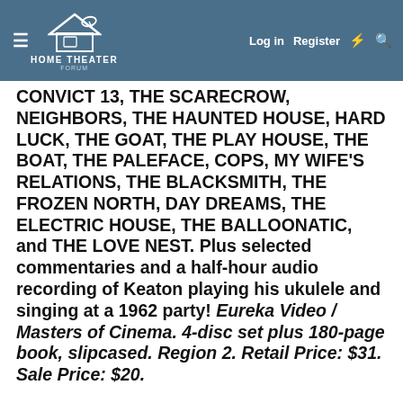HOME THEATER FORUM — Log in | Register
CONVICT 13, THE SCARECROW, NEIGHBORS, THE HAUNTED HOUSE, HARD LUCK, THE GOAT, THE PLAY HOUSE, THE BOAT, THE PALEFACE, COPS, MY WIFE'S RELATIONS, THE BLACKSMITH, THE FROZEN NORTH, DAY DREAMS, THE ELECTRIC HOUSE, THE BALLOONATIC, and THE LOVE NEST. Plus selected commentaries and a half-hour audio recording of Keaton playing his ukulele and singing at a 1962 party! Eureka Video / Masters of Cinema. 4-disc set plus 180-page book, slipcased. Region 2. Retail Price: $31. Sale Price: $20.
THE SAPHEAD. American, 1920. Tinted, Directed by Herbert Blache, With Buster Keaton, Plus